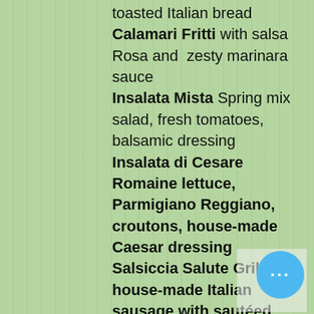toasted Italian bread
Calamari Fritti with salsa Rosa and zesty marinara sauce
Insalata Mista Spring mix salad, fresh tomatoes, balsamic dressing
Insalata di Cesare Romaine lettuce, Parmigiano Reggiano, croutons, house-made Caesar dressing
Salsiccia Salute Grilled house-made Italian sausage with sautéed broccoli rabe
Caprese Vine-ripened tomatoes, fresh mozzarella cheese, extra virgin olive oil, basil
Main Course
Pappardelle ai Funghi Porcini Wide homemade pasta with Porcini mushroom sauce
Agnolotti Homemade half-moon shaped pasta filled with ricotta cheese and spinach in a light cream sauce
Lasagna Salute Homemade pasta sheets